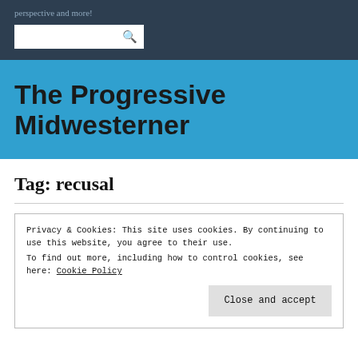perspective and more!
The Progressive Midwesterner
Tag: recusal
Privacy & Cookies: This site uses cookies. By continuing to use this website, you agree to their use.
To find out more, including how to control cookies, see here: Cookie Policy
Close and accept